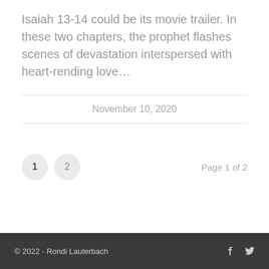Isaiah 13-14 could be its movie trailer. In these two chapters, the prophet flashes scenes of devastation interspersed with heart-rending love…
November 10, 2020
1  2  Page 1 of 2
© 2022 - Rondi Lauterbach